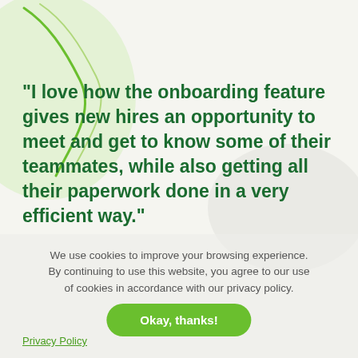"I love how the onboarding feature gives new hires an opportunity to meet and get to know some of their teammates, while also getting all their paperwork done in a very efficient way."
We use cookies to improve your browsing experience. By continuing to use this website, you agree to our use of cookies in accordance with our privacy policy.
Okay, thanks!
Privacy Policy